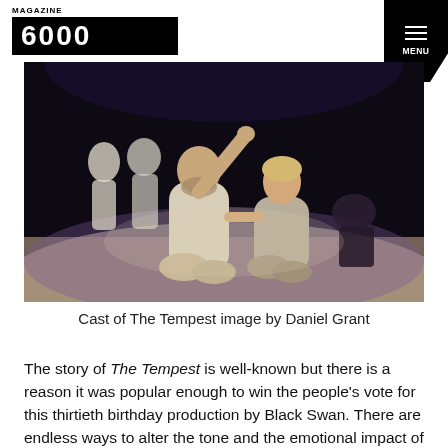MAGAZINE 6000
[Figure (photo): Theatre production photo: two actors kneeling on stage sand — a bearded man in cream linen with arm raised, and a woman in a light hoodie — with other cast members in white costumes in the background against a dark stage.]
Cast of The Tempest image by Daniel Grant
The story of The Tempest is well-known but there is a reason it was popular enough to win the people's vote for this thirtieth birthday production by Black Swan. There are endless ways to alter the tone and the emotional impact of the show by subtleties in the